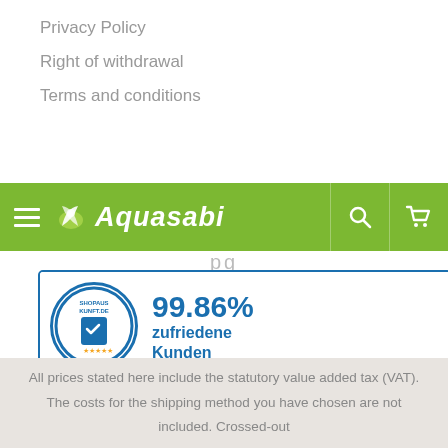Privacy Policy
Right of withdrawal
Terms and conditions
[Figure (screenshot): Aquasabi website green navigation bar with hamburger menu, logo, search and cart icons]
[Figure (infographic): Shopaustkunft trust badge showing 99.86% zufriedene Kunden (satisfied customers), 4.88/5.00 rating with 5 gold stars, date 23.08.22, Bewertungen: 21469]
All prices stated here include the statutory value added tax (VAT). The costs for the shipping method you have chosen are not included. Crossed-out